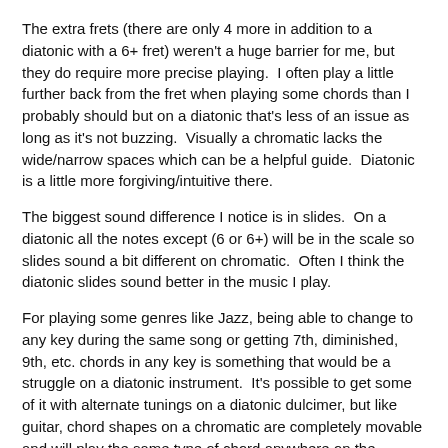The extra frets (there are only 4 more in addition to a diatonic with a 6+ fret) weren't a huge barrier for me, but they do require more precise playing.  I often play a little further back from the fret when playing some chords than I probably should but on a diatonic that's less of an issue as long as it's not buzzing.  Visually a chromatic lacks the wide/narrow spaces which can be a helpful guide.  Diatonic is a little more forgiving/intuitive there.
The biggest sound difference I notice is in slides.  On a diatonic all the notes except (6 or 6+) will be in the scale so slides sound a bit different on chromatic.  Often I think the diatonic slides sound better in the music I play.
For playing some genres like Jazz, being able to change to any key during the same song or getting 7th, diminished, 9th, etc. chords in any key is something that would be a struggle on a diatonic instrument.  It's possible to get some of it with alternate tunings on a diatonic dulcimer, but like guitar, chord shapes on a chromatic are completely movable and will play the same type of chord anywhere on the fretboard, which is handy if you might need to play in any of the 12 keys.
For playing fiddle tunes or Appalachian/European/Medieval folk